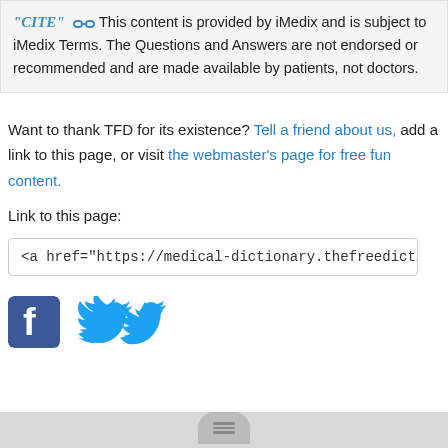"CITE" [link icon] This content is provided by iMedix and is subject to iMedix Terms. The Questions and Answers are not endorsed or recommended and are made available by patients, not doctors.
Want to thank TFD for its existence? Tell a friend about us, add a link to this page, or visit the webmaster's page for free fun content.
Link to this page:
<a href="https://medical-dictionary.thefreedictionary.com/Element+28">ni
[Figure (logo): Facebook and Twitter social media icons]
hamburger menu button